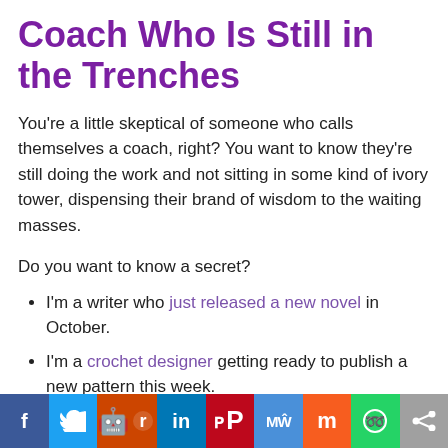Coach Who Is Still in the Trenches
You're a little skeptical of someone who calls themselves a coach, right? You want to know they're still doing the work and not sitting in some kind of ivory tower, dispensing their brand of wisdom to the waiting masses.
Do you want to know a secret?
I'm a writer who just released a new novel in October.
I'm a crochet designer getting ready to publish a new pattern this week.
I'm a creative entrepreneur wondering if I have what it takes.
Social share bar: Facebook, Twitter, Reddit, LinkedIn, Pinterest, MeWe, Mix, WhatsApp, Share